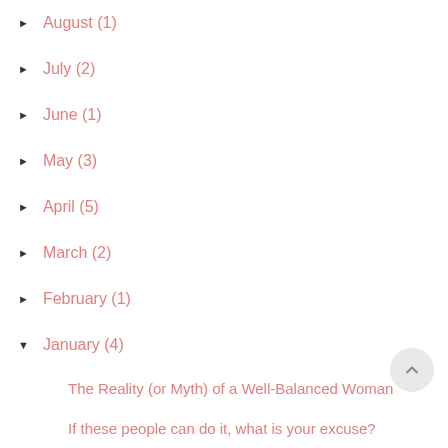► August (1)
► July (2)
► June (1)
► May (3)
► April (5)
► March (2)
► February (1)
▼ January (4)
The Reality (or Myth) of a Well-Balanced Woman
If these people can do it, what is your excuse?
Don't Call me Mama (11) - Let's get real: Your chi...
Don't Call me Mama (10) - Let me tell you somethin...
► 2017 (42)
► 2016 (57)
► 2015 (52)
► 2014 (53)